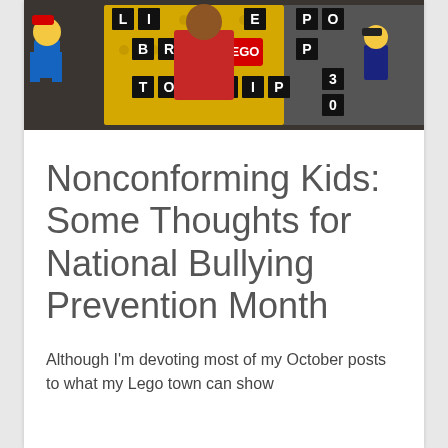[Figure (photo): Photo of Lego minifigures arranged in front of yellow Lego blocks spelling out letters. A Lego figure in blue overalls and red hat is on the left, a person in red shirt in the background center, more Lego figures on the right. Yellow Lego bricks form letters including L, I, E, B, R, P, O, P, T, O, H, I, P, 3, 0, 5, H, E and a Lego logo brick.]
Nonconforming Kids: Some Thoughts for National Bullying Prevention Month
Although I’m devoting most of my October posts to what my Lego town can show